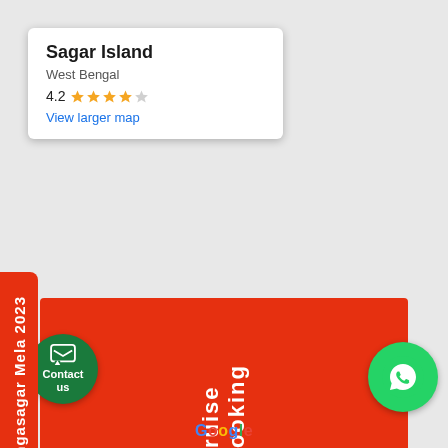[Figure (screenshot): Google Maps screenshot showing Sagar Island, West Bengal with a rating of 4.2 stars and a View larger map link. A red 'Cruise Booking' banner overlays the map. A sidebar label reads 'Gangasagar Mela 2023'. Contact us button and WhatsApp button visible at bottom. Google watermark at bottom.]